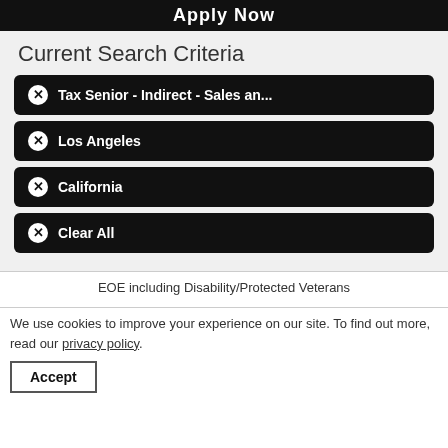Apply Now
Current Search Criteria
✕ Tax Senior - Indirect - Sales an...
✕ Los Angeles
✕ California
✕ Clear All
EOE including Disability/Protected Veterans
We use cookies to improve your experience on our site. To find out more, read our privacy policy.
Accept